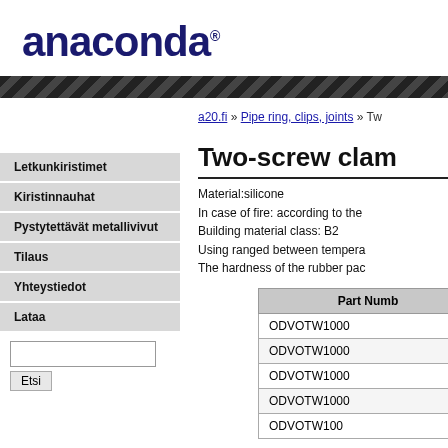[Figure (logo): Anaconda logo with registered trademark symbol]
a20.fi » Pipe ring, clips, joints » Tw
Two-screw clam
Material:silicone
In case of fire: according to the
Building material class: B2
Using ranged between tempera
The hardness of the rubber pac
Letkunkiristimet
Kiristinnauhat
Pystytettävät metallivivut
Tilaus
Yhteystiedot
Lataa
| Part Numb |
| --- |
| ODVOTW1000 |
| ODVOTW1000 |
| ODVOTW1000 |
| ODVOTW1000 |
| ODVOTW100 |